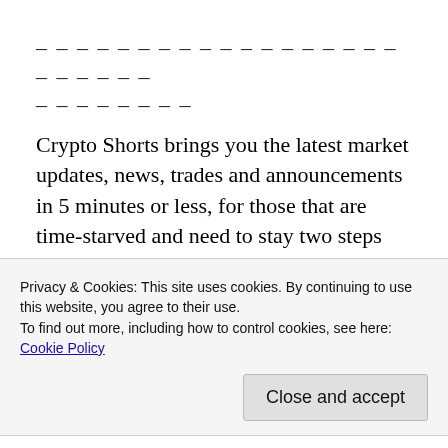_ _ _ _ _ _ _ _ _ _ _ _ _ _ _ _ _ _ _ _ _ _ _ _ _ _ _ _ _ _ _
Crypto Shorts brings you the latest market updates, news, trades and announcements in 5 minutes or less, for those that are time-starved and need to stay two steps ahead of the crypto markets. Subscribe to receive our daily updates
Privacy & Cookies: This site uses cookies. By continuing to use this website, you agree to their use.
To find out more, including how to control cookies, see here: Cookie Policy
Close and accept
COMMENTS AND COMMUNITY CHANNELS*
Disclaimer: